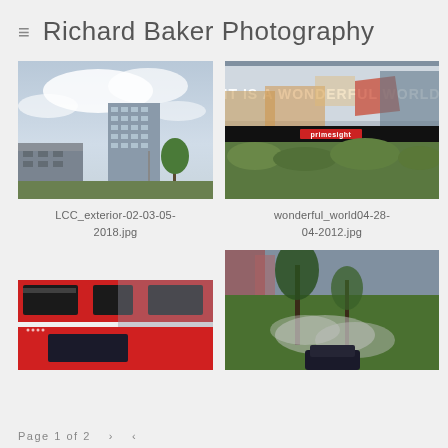Richard Baker Photography
[Figure (photo): Exterior view of modern glass office building against cloudy sky, with parking structure and tree in foreground — LCC_exterior-02-03-05-2018.jpg]
[Figure (photo): Billboard advertisement reading 'IT IS A WONDERFUL WORLD' with Primesight branding, partially torn — wonderful_world04-28-04-2012.jpg]
LCC_exterior-02-03-05-2018.jpg
wonderful_world04-28-04-2012.jpg
[Figure (photo): Close-up of a red double-decker bus side and upper deck against urban background]
[Figure (photo): Park scene with trees and smoke or mist, with a dark vehicle partially visible]
Page 1 of 2